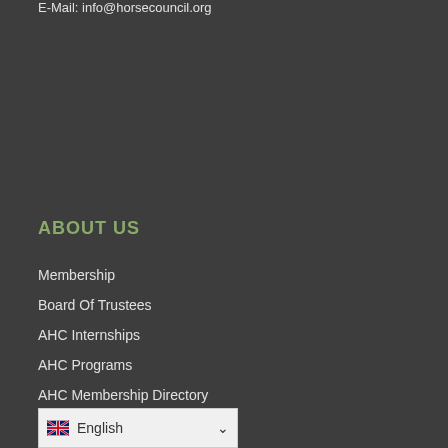E-Mail: info@horsecouncil.org
ABOUT US
Membership
Board Of Trustees
AHC Internships
AHC Programs
AHC Membership Directory
Annual Reports
English